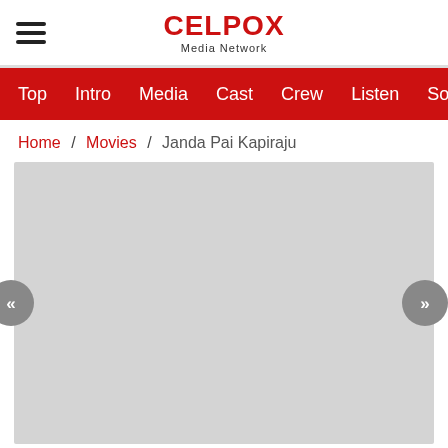CelPox Media Network
Top  Intro  Media  Cast  Crew  Listen  Soundtrack
Home / Movies / Janda Pai Kapiraju
[Figure (photo): Gray placeholder image area with left and right navigation arrows]